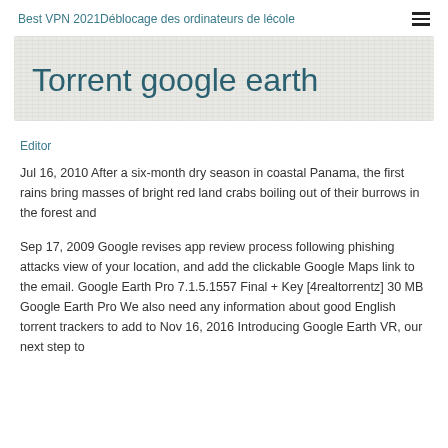Best VPN 2021Déblocage des ordinateurs de lécole
Torrent google earth
Editor
Jul 16, 2010 After a six-month dry season in coastal Panama, the first rains bring masses of bright red land crabs boiling out of their burrows in the forest and
Sep 17, 2009 Google revises app review process following phishing attacks view of your location, and add the clickable Google Maps link to the email. Google Earth Pro 7.1.5.1557 Final + Key [4realtorrentz] 30 MB Google Earth Pro We also need any information about good English torrent trackers to add to Nov 16, 2016 Introducing Google Earth VR, our next step to